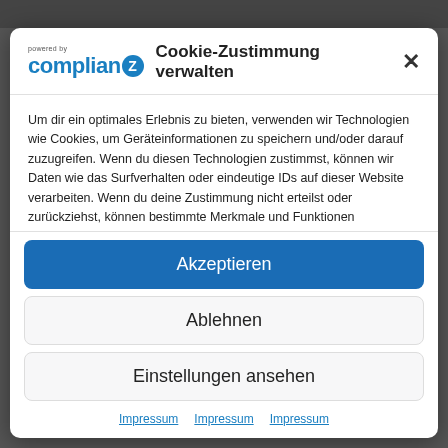[Figure (logo): Complianz logo with 'powered by' text above and a blue Z circle]
Cookie-Zustimmung verwalten
Um dir ein optimales Erlebnis zu bieten, verwenden wir Technologien wie Cookies, um Geräteinformationen zu speichern und/oder darauf zuzugreifen. Wenn du diesen Technologien zustimmst, können wir Daten wie das Surfverhalten oder eindeutige IDs auf dieser Website verarbeiten. Wenn du deine Zustimmung nicht erteilst oder zurückziehst, können bestimmte Merkmale und Funktionen beeinträchtigt werden.
Dienste verwalten
Akzeptieren
Ablehnen
Einstellungen ansehen
Impressum  Impressum  Impressum